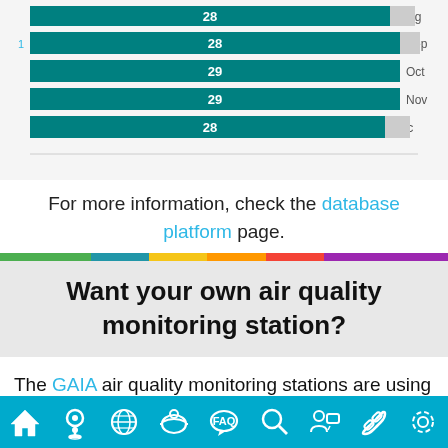[Figure (bar-chart): Monthly air quality days]
For more information, check the database platform page.
Want your own air quality monitoring station?
The GAIA air quality monitoring stations are using high-tech laser particle sensors to measure in real-time PM2.5 pollution, which is one of the most harmful air pollutants.